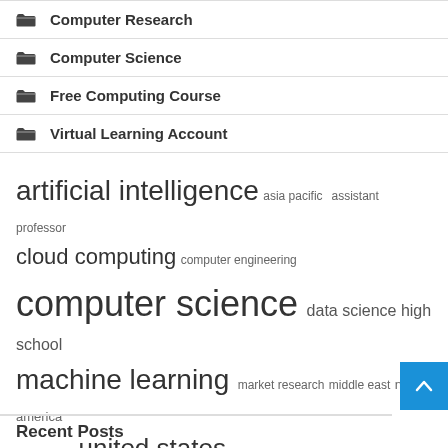Computer Research
Computer Science
Free Computing Course
Virtual Learning Account
artificial intelligence  asia pacific  assistant professor  cloud computing  computer engineering  computer science  data science  high school  machine learning  market research  middle east  north america  short term  united states  wide range
Recent Posts